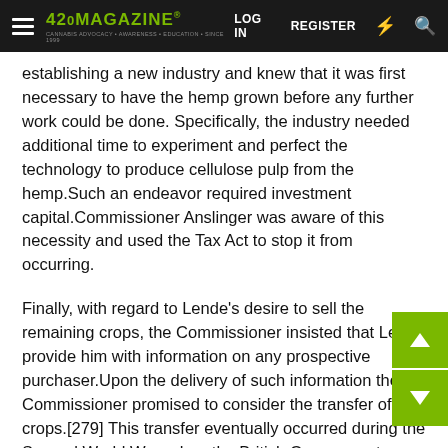420 MAGAZINE | LOG IN | REGISTER
establishing a new industry and knew that it was first necessary to have the hemp grown before any further work could be done. Specifically, the industry needed additional time to experiment and perfect the technology to produce cellulose pulp from the hemp.Such an endeavor required investment capital.Commissioner Anslinger was aware of this necessity and used the Tax Act to stop it from occurring.
Finally, with regard to Lende's desire to sell the remaining crops, the Commissioner insisted that Lende provide him with information on any prospective purchaser.Upon the delivery of such information the Commissioner promised to consider the transfer of the crops.[279] This transfer eventually occurred during the Second World War, when the British Government contracted with a new venture, Hemlax Fibre & Company, of Sacred Heart, Minnesota, to cultivate hemp for naval cordage.[280]
In Illinois a slightly different situation developed, but, it and the results on the crops attributed here to Minnesota